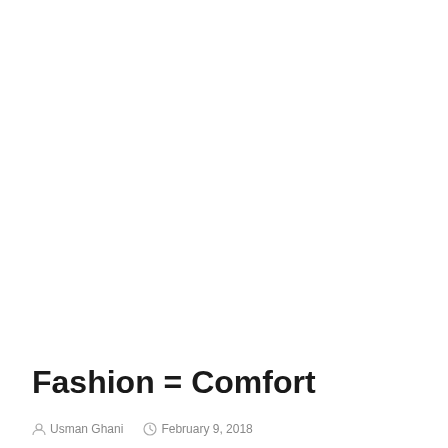[Figure (other): Large white/blank image area taking up the upper portion of the page]
FASHION AND LIFESTYLE
Fashion = Comfort
Usman Ghani   February 9, 2018